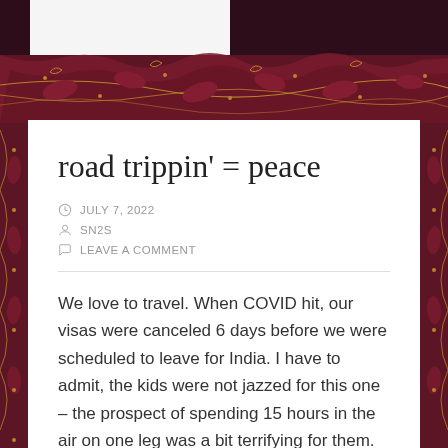[Figure (illustration): Decorative dark red/maroon ornamental border with gold floral and paisley patterns surrounding the page edges]
road trippin' = peace
JULY 7, 2022
SN2S
LEAVE A COMMENT
We love to travel. When COVID hit, our visas were canceled 6 days before we were scheduled to leave for India. I have to admit, the kids were not jazzed for this one – the prospect of spending 15 hours in the air on one leg was a bit terrifying for them. I've spent months in India throughout my adulthood, my